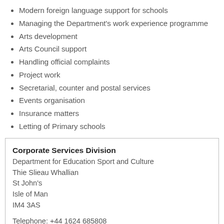Modern foreign language support for schools
Managing the Department's work experience programme
Arts development
Arts Council support
Handling official complaints
Project work
Secretarial, counter and postal services
Events organisation
Insurance matters
Letting of Primary schools
Corporate Services Division
Department for Education Sport and Culture
Thie Slieau Whallian
St John's
Isle of Man
IM4 3AS
Telephone: +44 1624 685808
Share and Bookmark